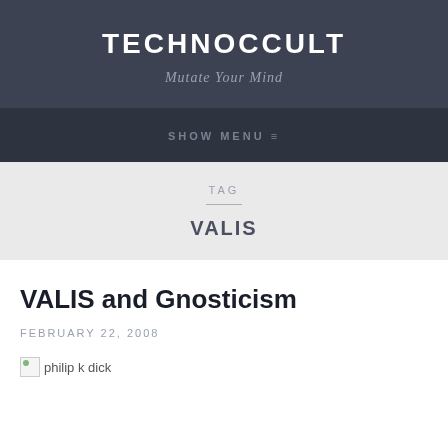TECHNOCCULT
Mutate Your Mind
SHOW MENU ≡
TAG
VALIS
VALIS and Gnosticism
FEBRUARY 22, 2008
[Figure (photo): Broken image placeholder with alt text 'philip k dick']